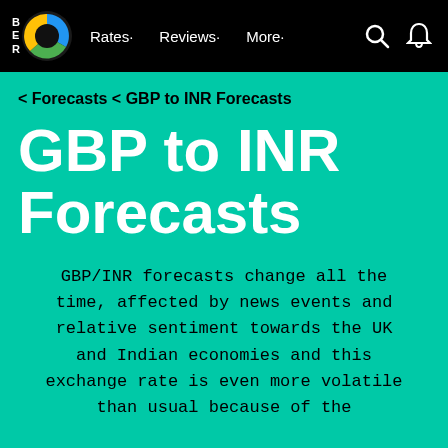BER | Rates · Reviews · More ·
< Forecasts < GBP to INR Forecasts
GBP to INR Forecasts
GBP/INR forecasts change all the time, affected by news events and relative sentiment towards the UK and Indian economies and this exchange rate is even more volatile than usual because of the